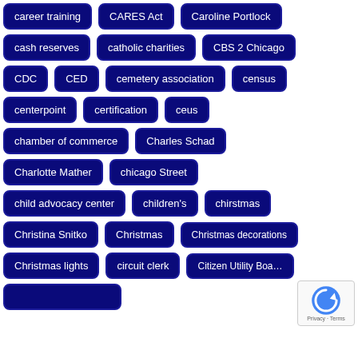career training
CARES Act
Caroline Portlock
cash reserves
catholic charities
CBS 2 Chicago
CDC
CED
cemetery association
census
centerpoint
certification
ceus
chamber of commerce
Charles Schad
Charlotte Mather
chicago Street
child advocacy center
children's
chirstmas
Christina Snitko
Christmas
Christmas decorations
Christmas lights
circuit clerk
Citizen Utility Boa...